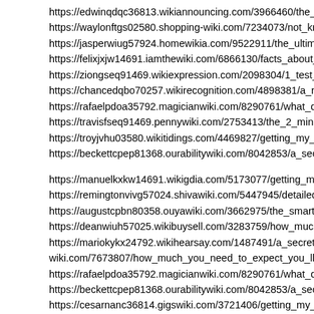https://edwinqdqc36813.wikiannouncing.com/3966460/the_basic_pr
https://waylonftgs02580.shopping-wiki.com/7234073/not_known_fac
https://jasperwiug57924.homewikia.com/9522911/the_ultimate_guid
https://felixjxjw14691.iamthewiki.com/6866130/facts_about_1_test_c
https://ziongseq91469.wikiexpression.com/2098304/1_test_cyp_100
https://chancedqbo70257.wikirecognition.com/4898381/a_review_of
https://rafaelpdoa35792.magicianwiki.com/8290761/what_does_1_te
https://travisfseq91469.pennywiki.com/2753413/the_2_minute_rule_
https://troyjvhu03580.wikitidings.com/4469827/getting_my_1_test_c
https://beckettcpep81368.ourabilitywiki.com/8042853/a_secret_wea
https://manuelkxkw14691.wikigdia.com/5173077/getting_my_1_test
https://remingtonvivg57024.shivawiki.com/5447945/detailed_notes_
https://augustcpbn80358.ouyawiki.com/3662975/the_smart_trick_of
https://deanwiuh57025.wikibuysell.com/3283759/how_much_you_ne
https://mariokykx24792.wikihearsay.com/1487491/a_secret_weapon
wiki.com/7673807/how_much_you_need_to_expect_you_ll_pay_for
https://rafaelpdoa35792.magicianwiki.com/8290761/what_does_1_te
https://beckettcpep81368.ourabilitywiki.com/8042853/a_secret_wea
https://cesarnanc36814.gigswiki.com/3721406/getting_my_1_test_c
https://andreoboa35813.wikiitemization.com/3078566/how_much_yo
kerio ptjctvzbjq http://www.gc8xmtg0c4888jly05k962a42i137naos.or
href="http://www.gc8xmtg0c4888jly05k962a42i137naos.org/">aptjct
[url=http://www.gc8xmtg0c4888jly05k962a42i137naos.org/]uptjctvzb
https://...